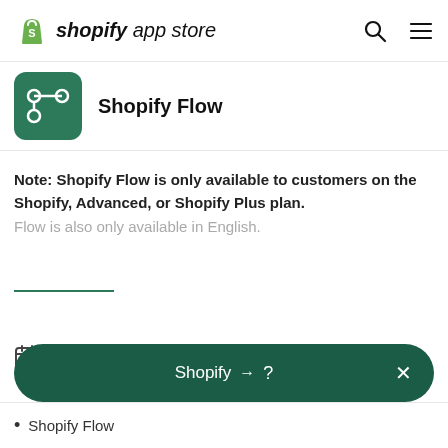shopify app store
Shopify Flow
Note: Shopify Flow is only available to customers on the Shopify, Advanced, or Shopify Plus plan. Flow is also only available in English.
September 18, 2017
Shopify → ?
Shopify Flow